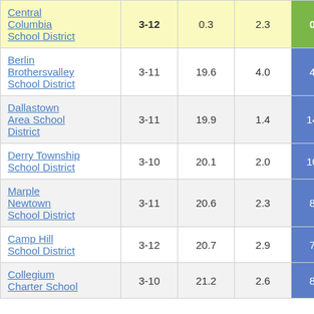| School District | Grades | Col3 | Col4 | Col5 | Col6 |
| --- | --- | --- | --- | --- | --- |
| Central Columbia School District | 3-12 | 0.3 | 2.3 | 0.12 | 2 |
| Berlin Brothersvalley School District | 3-11 | 19.6 | 4.0 | 4.93 |  |
| Dallastown Area School District | 3-11 | 19.9 | 1.4 | 14.14 |  |
| Derry Township School District | 3-10 | 20.1 | 2.0 | 10.20 |  |
| Marple Newtown School District | 3-11 | 20.6 | 2.3 | 8.95 |  |
| Camp Hill School District | 3-12 | 20.7 | 2.9 | 7.00 |  |
| Collegium Charter School | 3-10 | 21.2 | 2.6 | 8.18 |  |